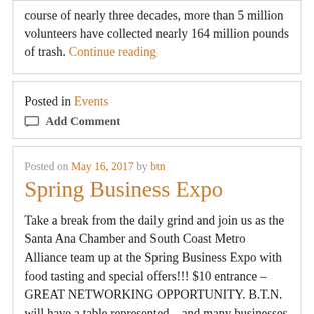course of nearly three decades, more than 5 million volunteers have collected nearly 164 million pounds of trash. Continue reading
Posted in Events
Add Comment
Posted on May 16, 2017 by btn
Spring Business Expo
Take a break from the daily grind and join us as the Santa Ana Chamber and South Coast Metro Alliance team up at the Spring Business Expo with food tasting and special offers!!! $10 entrance – GREAT NETWORKING OPPORTUNITY. B.T.N. will have a table represented – and many businesses from all over Southern California will be present. Continue